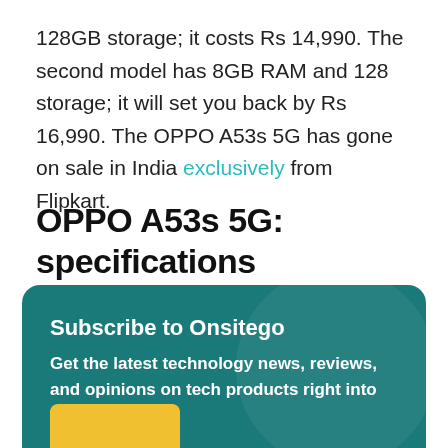128GB storage; it costs Rs 14,990. The second model has 8GB RAM and 128 storage; it will set you back by Rs 16,990. The OPPO A53s 5G has gone on sale in India exclusively from Flipkart.
OPPO A53s 5G: specifications
Subscribe to Onsitego
Get the latest technology news, reviews, and opinions on tech products right into your inbox
Your Email Address